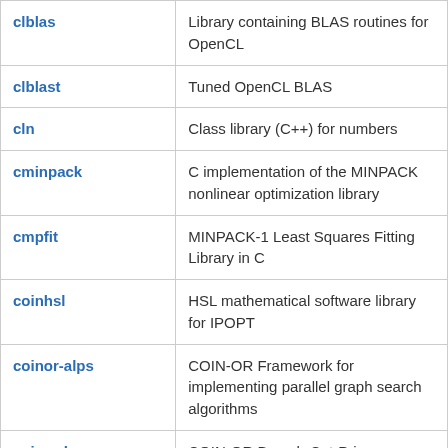| clblas | Library containing BLAS routines for OpenCL |
| clblast | Tuned OpenCL BLAS |
| cln | Class library (C++) for numbers |
| cminpack | C implementation of the MINPACK nonlinear optimization library |
| cmpfit | MINPACK-1 Least Squares Fitting Library in C |
| coinhsl | HSL mathematical software library for IPOPT |
| coinor-alps | COIN-OR Framework for implementing parallel graph search algorithms |
| coinor-bcp | COIN-OR Branch-Cut-Price Framework |